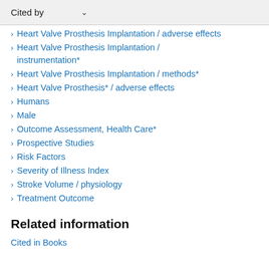Cited by
Heart Valve Prosthesis Implantation / adverse effects
Heart Valve Prosthesis Implantation / instrumentation*
Heart Valve Prosthesis Implantation / methods*
Heart Valve Prosthesis* / adverse effects
Humans
Male
Outcome Assessment, Health Care*
Prospective Studies
Risk Factors
Severity of Illness Index
Stroke Volume / physiology
Treatment Outcome
Related information
Cited in Books